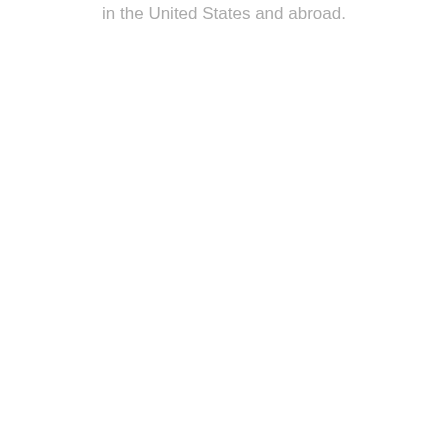in the United States and abroad.